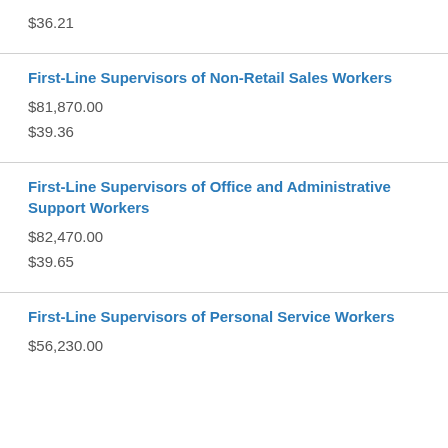$36.21
First-Line Supervisors of Non-Retail Sales Workers
$81,870.00
$39.36
First-Line Supervisors of Office and Administrative Support Workers
$82,470.00
$39.65
First-Line Supervisors of Personal Service Workers
$56,230.00